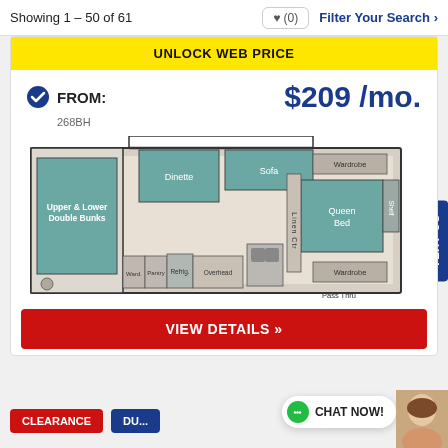Showing 1 – 50 of 61   ♥ (0)   Filter Your Search ›
UNLOCK WEB PRICE
FROM:  $209 /mo.
268BH
[Figure (schematic): RV floor plan schematic showing: Upper & Lower Double Bunks on left, Dinette and Sofa at top center, kitchen area with Wardrobe/Pantry/Refrig/Overhead, Linen closet, Queen Bed with Shelf and Wardrobe on right, Pass Thru label at bottom right]
VIEW DETAILS »
TEXT US
CLEARANCE
CHAT NOW!